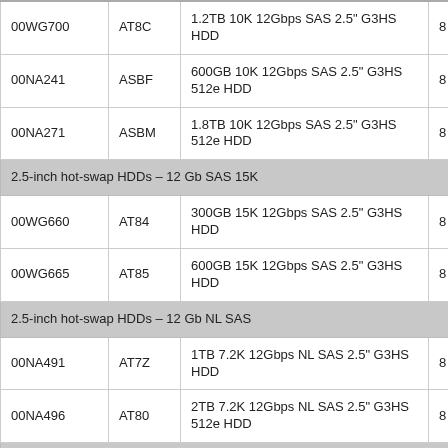| Part Number | FRU | Description |  |
| --- | --- | --- | --- |
| 00WG700 | AT8C | 1.2TB 10K 12Gbps SAS 2.5" G3HS HDD | 8 |
| 00NA241 | ASBF | 600GB 10K 12Gbps SAS 2.5" G3HS 512e HDD | 8 |
| 00NA271 | ASBM | 1.8TB 10K 12Gbps SAS 2.5" G3HS 512e HDD | 8 |
| 2.5-inch hot-swap HDDs – 12 Gb SAS 15K |  |  |  |
| 00WG660 | AT84 | 300GB 15K 12Gbps SAS 2.5" G3HS HDD | 8 |
| 00WG665 | AT85 | 600GB 15K 12Gbps SAS 2.5" G3HS HDD | 8 |
| 2.5-inch hot-swap HDDs – 12 Gb NL SAS |  |  |  |
| 00NA491 | AT7Z | 1TB 7.2K 12Gbps NL SAS 2.5" G3HS HDD | 8 |
| 00NA496 | AT80 | 2TB 7.2K 12Gbps NL SAS 2.5" G3HS 512e HDD | 8 |
| 2.5-inch hot-swap SED HDDs – 12 Gb SAS 10K |  |  |  |
| 00WG705 | AT8D | 300GB 10K 12Gbps SAS 2.5" G3HS SED | 8 |
| 00WG710 | AT8E | 600GB 10K 12Gbps SAS 2.5" G3HS SED | 8 |
| 00WG715 | AT8F | 900GB 10K 12Gbps SAS 2.5" G3HS SED | 8 |